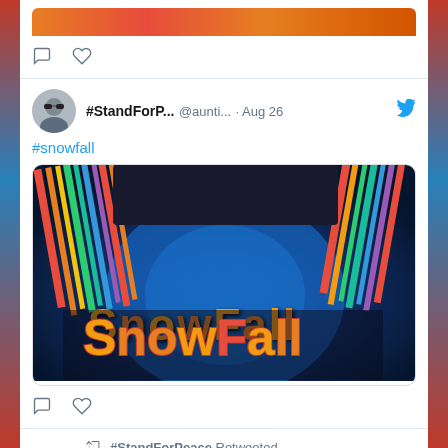[Figure (screenshot): Partial top of a Twitter/social media feed showing bottom of a tweet with an orange/red image and action icons (comment and heart)]
#StandForP... @aunti... · Aug 26
#snowfall
[Figure (photo): Snowfall TV show promotional image with colorful striped background and 'SNOWFALL' text in stylized yellow/orange lettering]
#StandForPeace Retweeted
Caitlin Johnst... @ca... · Aug 26
When Billionaires And The Government Work Together To Control Information